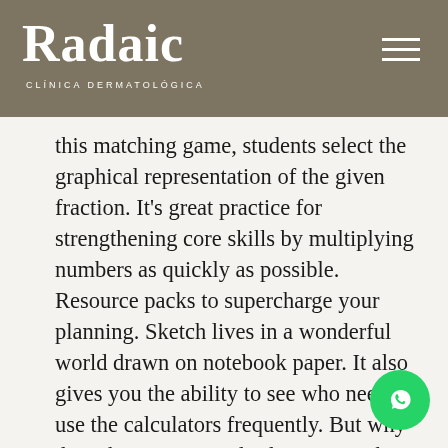Radaic
CLÍNICA DERMATOLÓGICA
this matching game, students select the graphical representation of the given fraction. It's great practice for strengthening core skills by multiplying numbers as quickly as possible. Resource packs to supercharge your planning. Sketch lives in a wonderful world drawn on notebook paper. It also gives you the ability to see who needs to use the calculators frequently. But why does this matter. Multiplication math games for kids make learning multiplication facts more fun than frustrating for young learners. Tony Fraction's Pizza Shop Online Game. By exercising well and regularly, you can surprise your teacher in class with good answers. The speed test is good practice for getting your tables diploma. The game encourages students apply their understanding of multiplication to find